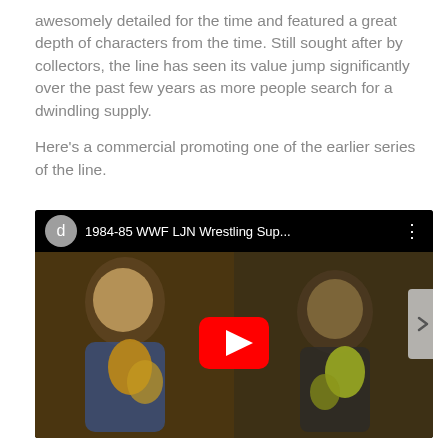awesomely detailed for the time and featured a great depth of characters from the time. Still sought after by collectors, the line has seen its value jump significantly over the past few years as more people search for a dwindling supply.

Here's a commercial promoting one of the earlier series of the line.
[Figure (screenshot): YouTube video embed showing '1984-85 WWF LJN Wrestling Sup...' with a thumbnail of children playing with wrestling figures and a red YouTube play button overlay.]